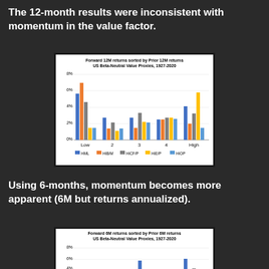The 12-month results were inconsistent with momentum in the value factor.
[Figure (grouped-bar-chart): Forward 12M returns sorted by Prior 12M returns
US Beta-Neutral Value Proxies, 1927-2020]
Using 6-months, momentum becomes more apparent (6M but returns annualized).
[Figure (grouped-bar-chart): Forward 6M returns sorted by Prior 6M returns
US Beta-Neutral Value Proxies, 1927-2020]